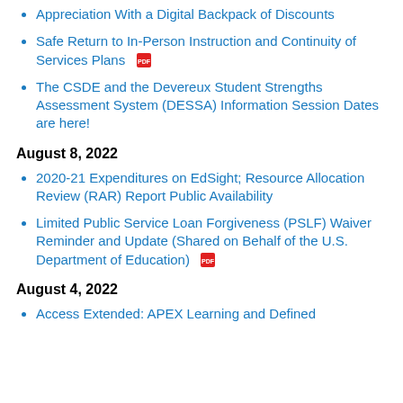Appreciation With a Digital Backpack of Discounts
Safe Return to In-Person Instruction and Continuity of Services Plans [PDF]
The CSDE and the Devereux Student Strengths Assessment System (DESSA) Information Session Dates are here!
August 8, 2022
2020-21 Expenditures on EdSight; Resource Allocation Review (RAR) Report Public Availability
Limited Public Service Loan Forgiveness (PSLF) Waiver Reminder and Update (Shared on Behalf of the U.S. Department of Education) [PDF]
August 4, 2022
Access Extended: APEX Learning and Defined...